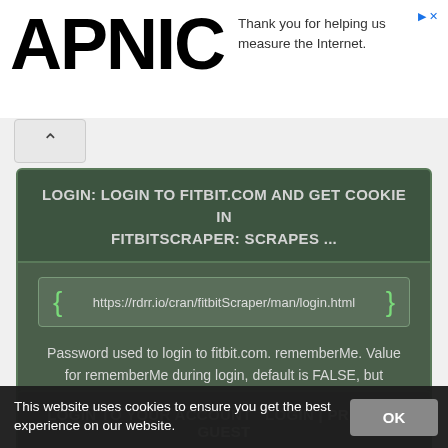[Figure (logo): APNIC logo in large bold black text]
Thank you for helping us measure the Internet.
LOGIN: LOGIN TO FITBIT.COM AND GET COOKIE IN FITBITSCRAPER: SCRAPES ...
https://rdrr.io/cran/fitbitScraper/man/login.html
Password used to login to fitbit.com. rememberMe. Value for rememberMe during login, default is FALSE, but changing to TRUE may help with login issues ...
STATUS: ONLINE
PREVIEW
DOWNLOAD
LOGIN TO YOUR ACCOUNT  LOGIN | PRIORITY GUEST
This website uses cookies to ensure you get the best experience on our website.